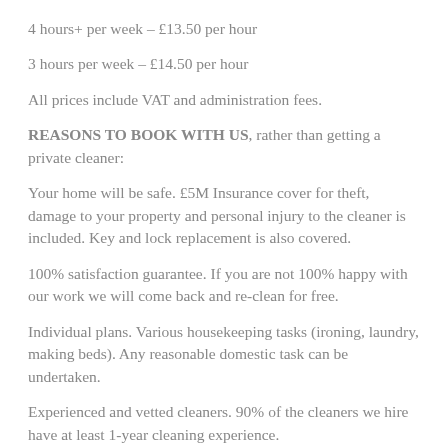4 hours+ per week – £13.50 per hour
3 hours per week – £14.50 per hour
All prices include VAT and administration fees.
REASONS TO BOOK WITH US, rather than getting a private cleaner:
Your home will be safe. £5M Insurance cover for theft, damage to your property and personal injury to the cleaner is included. Key and lock replacement is also covered.
100% satisfaction guarantee. If you are not 100% happy with our work we will come back and re-clean for free.
Individual plans. Various housekeeping tasks (ironing, laundry, making beds). Any reasonable domestic task can be undertaken.
Experienced and vetted cleaners. 90% of the cleaners we hire have at least 1-year cleaning experience.